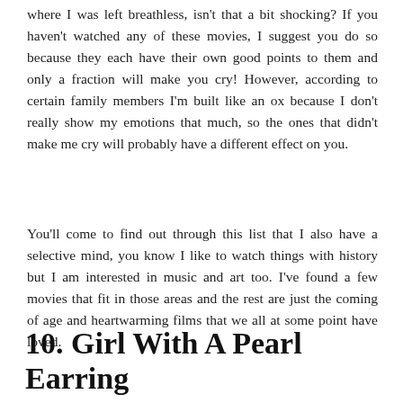where I was left breathless, isn't that a bit shocking? If you haven't watched any of these movies, I suggest you do so because they each have their own good points to them and only a fraction will make you cry! However, according to certain family members I'm built like an ox because I don't really show my emotions that much, so the ones that didn't make me cry will probably have a different effect on you.
You'll come to find out through this list that I also have a selective mind, you know I like to watch things with history but I am interested in music and art too. I've found a few movies that fit in those areas and the rest are just the coming of age and heartwarming films that we all at some point have loved.
10. Girl With A Pearl Earring